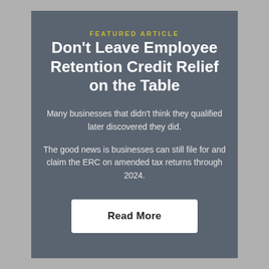FEATURED ARTICLE
Don't Leave Employee Retention Credit Relief on the Table
Many businesses that didn't think they qualified later discovered they did.
The good news is businesses can still file for and claim the ERC on amended tax returns through 2024.
Read More